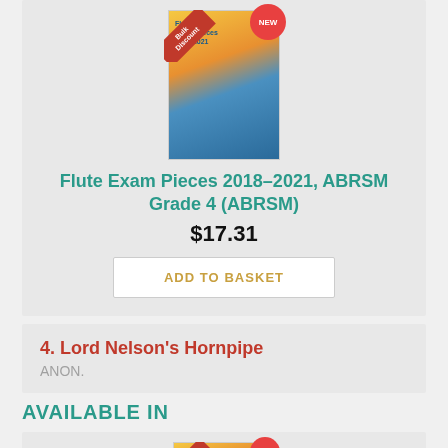[Figure (photo): Book cover of Flute Exam Pieces 2018-2021 ABRSM Grade 4 with Bulk Discount and NEW badges]
Flute Exam Pieces 2018–2021, ABRSM Grade 4 (ABRSM)
$17.31
ADD TO BASKET
4. Lord Nelson's Hornpipe
ANON.
AVAILABLE IN
[Figure (photo): Partial book cover with Bulk Discount and NEW badges at bottom of page]